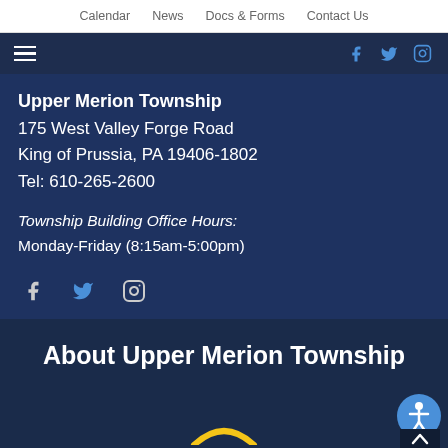Calendar   News   Docs & Forms   Contact Us
Upper Merion Township
175 West Valley Forge Road
King of Prussia, PA 19406-1802
Tel: 610-265-2600
Township Building Office Hours:
Monday-Friday (8:15am-5:00pm)
[Figure (infographic): Social media icons: Facebook, Twitter, Instagram]
About Upper Merion Township
[Figure (logo): Upper Merion Township logo (partially visible at bottom)]
[Figure (infographic): Accessibility widget button (circular, with person icon)]